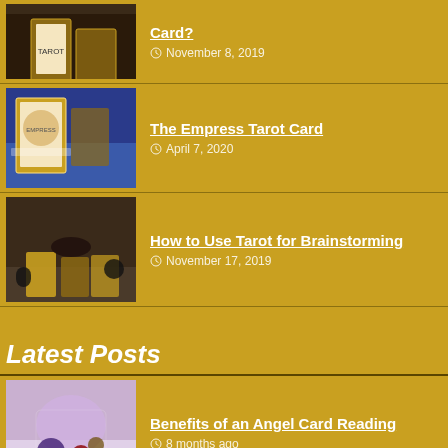[Figure (photo): Tarot card photo thumbnail (top row, partially visible)]
Card? | November 8, 2019
[Figure (photo): The Empress Tarot Card - cards spread on blue cloth]
The Empress Tarot Card | April 7, 2020
[Figure (photo): How to Use Tarot for Brainstorming - hand arranging cards on table]
How to Use Tarot for Brainstorming | November 17, 2019
Latest Posts
[Figure (photo): Benefits of an Angel Card Reading - hands holding crystals]
Benefits of an Angel Card Reading | 8 months ago
[Figure (photo): Tarot Card Spreads for Love - hand placing tarot cards]
Tarot Card Spreads for Love | 2 weeks ago